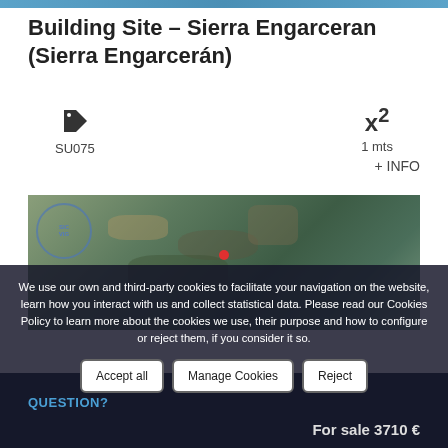Building Site – Sierra Engarceran (Sierra Engarcerán)
SU075
x² 1 mts
+ INFO
[Figure (map): Satellite/aerial map of Sierra Engarcerán area with a red dot marker indicating the building site location. A circular watermark/seal is visible in the top-left corner of the map.]
We use our own and third-party cookies to facilitate your navigation on the website, learn how you interact with us and collect statistical data. Please read our Cookies Policy to learn more about the cookies we use, their purpose and how to configure or reject them, if you consider it so.
Accept all
Manage Cookies
Reject
QUESTION?
For sale 3710 €